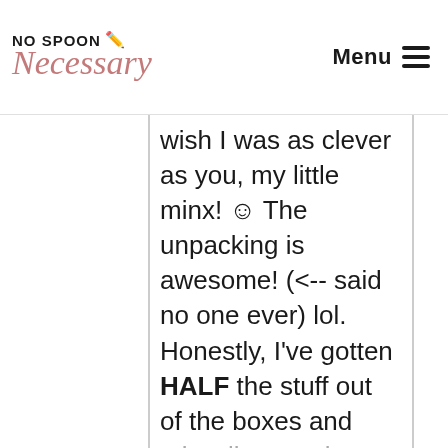NO SPOON NECESSARY | Necessary | Menu
wish I was as clever as you, my little minx! ☺ The unpacking is awesome! (<-- said no one ever) lol. Honestly, I've gotten HALF the stuff out of the boxes and miscellaneously placed. AKA.. I